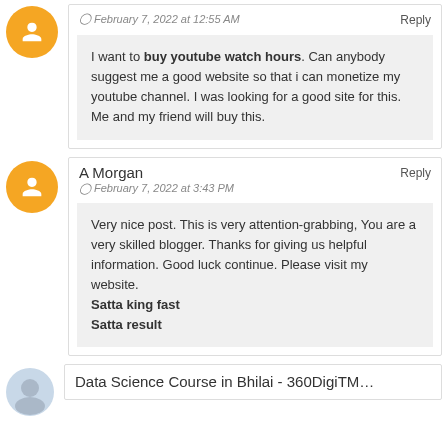I want to buy youtube watch hours. Can anybody suggest me a good website so that i can monetize my youtube channel. I was looking for a good site for this. Me and my friend will buy this.
A Morgan
February 7, 2022 at 3:43 PM
Very nice post. This is very attention-grabbing, You are a very skilled blogger. Thanks for giving us helpful information. Good luck continue. Please visit my website.
Satta king fast
Satta result
Data Science Course in Bhilai - 360DigiTM...